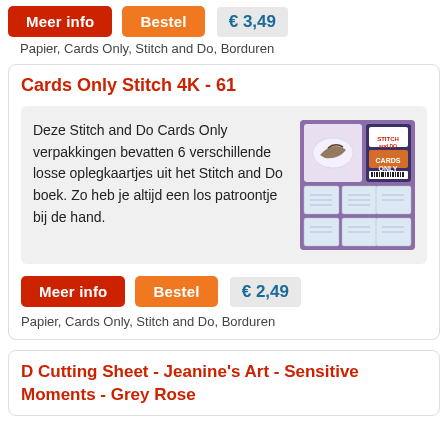Meer info | Bestel | € 3,49
Papier, Cards Only, Stitch and Do, Borduren
Cards Only Stitch 4K - 61
Deze Stitch and Do Cards Only verpakkingen bevatten 6 verschillende losse oplegkaartjes uit het Stitch and Do boek. Zo heb je altijd een los patroontje bij de hand.
[Figure (photo): Product image of Cards Only Stitch 4K - 61 packaging showing card patterns]
Meer info | Bestel | € 2,49
Papier, Cards Only, Stitch and Do, Borduren
D Cutting Sheet - Jeanine's Art - Sensitive Moments - Grey Rose